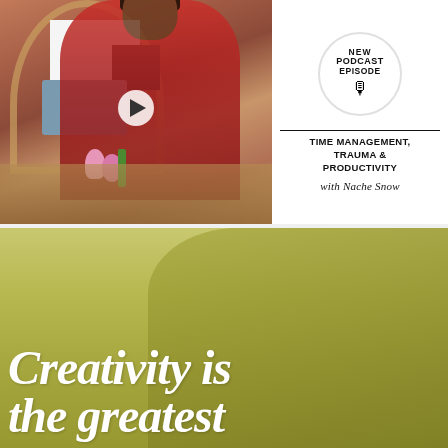[Figure (photo): Top left: Photo of a woman in a red dress sitting in a rattan chair, with black/white and blue pillows behind her, flowers and books on a glass table in front. A white play button overlay is visible in the center of the photo.]
[Figure (infographic): Top right: White circular badge with text NEW PODCAST EPISODE with a microphone icon, followed by topic text and host name]
NEW
PODCAST
EPISODE
TIME MANAGEMENT,
TRAUMA &
PRODUCTIVITY
with Nache Snow
[Figure (photo): Bottom half: Olive/yellow-toned photo of a person (appears to be a woman) bending down, overlaid with large white bold italic text reading 'Creativity is the greatest']
Creativity is the greatest